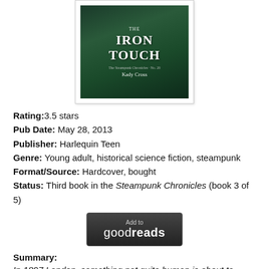[Figure (illustration): Book cover of 'The Girl with the Iron Touch' from The Steampunk Chronicles series by Kady Cross, featuring a steampunk-styled woman in a green corset against a dark mechanical background]
Rating:3.5 stars
Pub Date: May 28, 2013
Publisher: Harlequin Teen
Genre: Young adult, historical science fiction, steampunk
Format/Source: Hardcover, bought
Status: Third book in the Steampunk Chronicles (book 3 of 5)
[Figure (logo): Add to Goodreads button — dark rectangular button with 'Add to goodreads' text]
Summary:
In 1897 London, something not quite human is about to